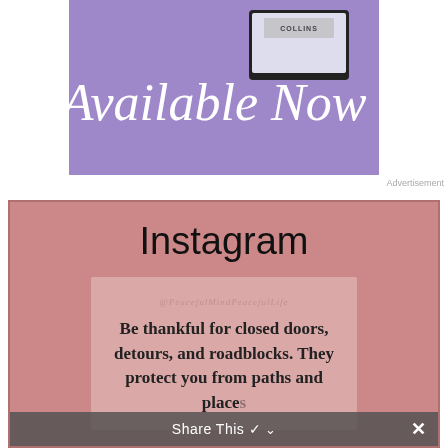[Figure (illustration): Purple/lavender advertisement banner showing 'Available Now' in script font with a tablet/book image and 'Collins' branding]
Advertisement
Instagram
[Figure (screenshot): Instagram post card on pink background from @PeacefulMindPeacefulLife with quote: 'Be thankful for closed doors, detours, and roadblocks. They protect you from paths and places']
Share This ✓ ×